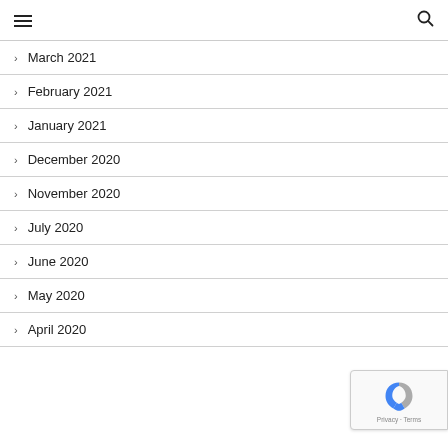Navigation header with hamburger menu and search icon
March 2021
February 2021
January 2021
December 2020
November 2020
July 2020
June 2020
May 2020
April 2020